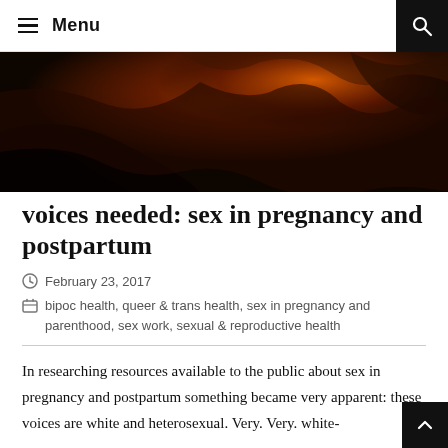Menu
[Figure (photo): Dark atmospheric photo showing fabric or cloth in warm orange/amber tones against a dark background]
voices needed: sex in pregnancy and postpartum
February 23, 2017
bipoc health, queer & trans health, sex in pregnancy and parenthood, sex work, sexual & reproductive health
In researching resources available to the public about sex in pregnancy and postpartum something became very apparent: these voices are white and heterosexual. Very. Very. white-